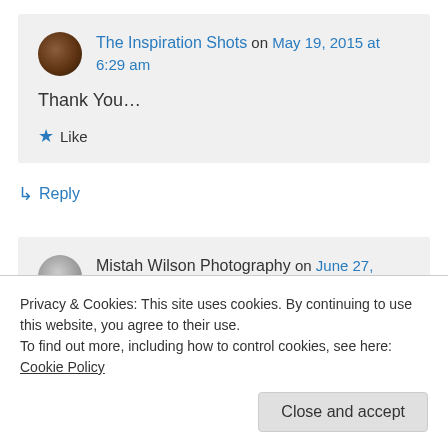The Inspiration Shots on May 19, 2015 at 6:29 am
Thank You…
★ Like
↳ Reply
Mistah Wilson Photography on June 27, 2015 at 12:57 pm
Privacy & Cookies: This site uses cookies. By continuing to use this website, you agree to their use. To find out more, including how to control cookies, see here: Cookie Policy
Close and accept